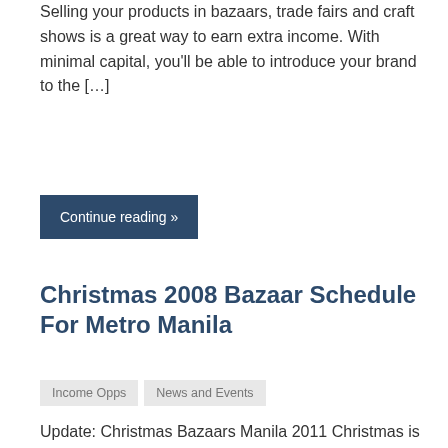Selling your products in bazaars, trade fairs and craft shows is a great way to earn extra income. With minimal capital, you'll be able to introduce your brand to the [...]
Continue reading »
Christmas 2008 Bazaar Schedule For Metro Manila
Income Opps
News and Events
Update: Christmas Bazaars Manila 2011 Christmas is usually a season for bazaars, and this 2008, it will be no different. As early as now, I'm sure many entrepreneurs are already [...]